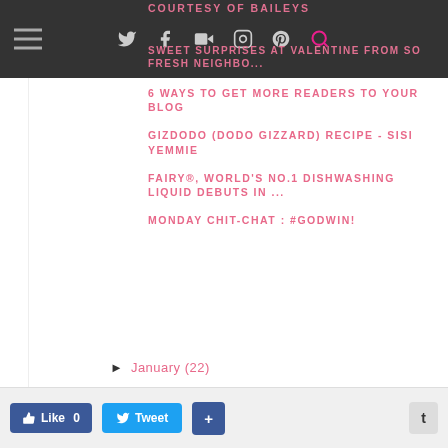COURTESY OF BAILEYS
SWEET SURPRISES AT VALENTINE FROM SO FRESH NEIGHBO...
6 WAYS TO GET MORE READERS TO YOUR BLOG
GIZDODO (DODO GIZZARD) RECIPE - SISI YEMMIE
FAIRY®, WORLD'S NO.1 DISHWASHING LIQUID DEBUTS IN ...
MONDAY CHIT-CHAT : #GODWIN!
► January (22)
► 2014 (323)
► 2013 (180)
► 2012 (28)
► 2011 (58)